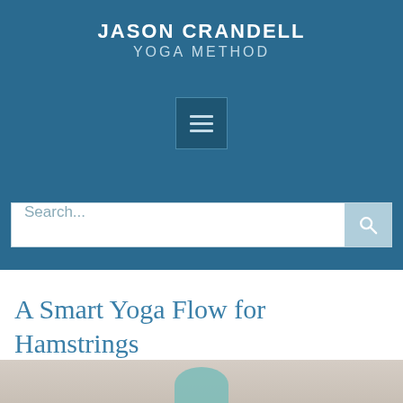JASON CRANDELL YOGA METHOD
[Figure (other): Hamburger menu icon in a dark blue box]
Search...
A Smart Yoga Flow for Hamstrings
Andrea Ferretti
[Figure (photo): Partial photo of a person in a yoga pose, showing a teal-colored head covering on a beige background]